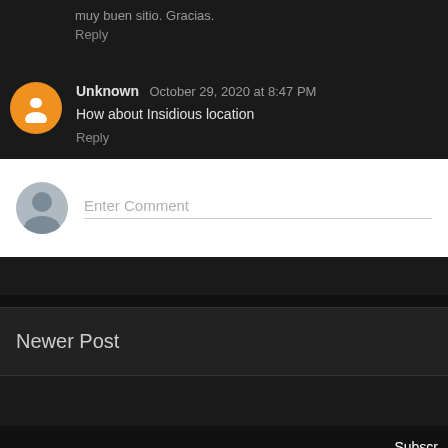muy buen sitio. Gracias.
Reply
Unknown October 29, 2020 at 8:47 PM
How about Insidious location
Reply
Enter Comment
Newer Post
Subscr